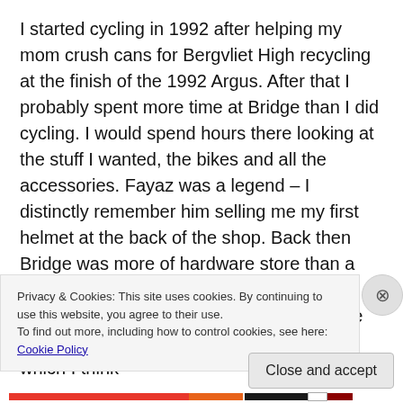I started cycling in 1992 after helping my mom crush cans for Bergvliet High recycling at the finish of the 1992 Argus. After that I probably spent more time at Bridge than I did cycling. I would spend hours there looking at the stuff I wanted, the bikes and all the accessories. Fayaz was a legend – I distinctly remember him selling me my first helmet at the back of the shop. Back then Bridge was more of hardware store than a cycle shop. The place was filled with the aroma of samoosas and the airwaves were filled with the sound of an old coke fridge which I think
Privacy & Cookies: This site uses cookies. By continuing to use this website, you agree to their use.
To find out more, including how to control cookies, see here: Cookie Policy
Close and accept